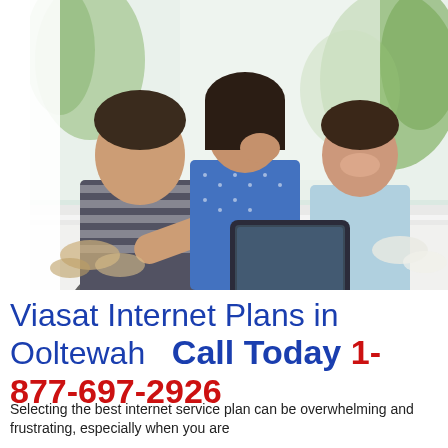[Figure (photo): A family of three — a man in a striped shirt, a woman in a blue dotted top, and a boy in a light blue shirt — sitting at a white table, laughing and looking at a tablet device. Green plants visible in background through large windows.]
Viasat Internet Plans in Ooltewah    Call Today 1-877-697-2926
Selecting the best internet service plan can be overwhelming and frustrating, especially when you are